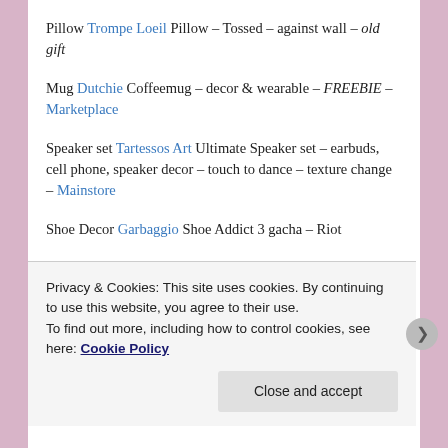Pillow Trompe Loeil Pillow – Tossed – against wall – old gift
Mug Dutchie Coffeemug – decor & wearable – FREEBIE – Marketplace
Speaker set Tartessos Art Ultimate Speaker set – earbuds, cell phone, speaker decor – touch to dance – texture change – Mainstore
Shoe Decor Garbaggio Shoe Addict 3 gacha – Riot
Hair Doux Tyrisha
Privacy & Cookies: This site uses cookies. By continuing to use this website, you agree to their use.
To find out more, including how to control cookies, see here: Cookie Policy
Close and accept